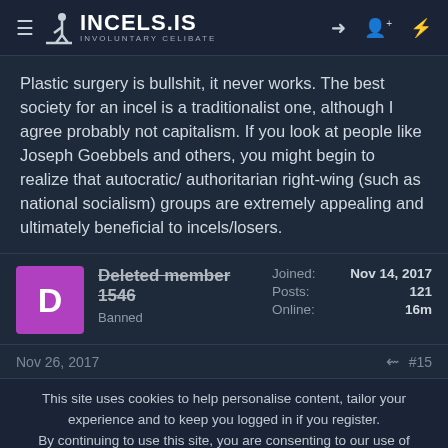INCELS.IS — INVOLUNTARY CELIBATE
Plastic surgery is bullshit, it never works. The best society for an incel is a traditionalist one, although I agree probably not capitalism. If you look at people like Joseph Goebbels and others, you might begin to realize that autocratic/ authoritarian right-wing (such as national socialism) groups are extremely appealing and ultimately beneficial to incels/losers.
Deleted member 1546
Banned
Joined: Nov 14, 2017
Posts: 121
Online: 16m
Nov 26, 2017  #15
This site uses cookies to help personalise content, tailor your experience and to keep you logged in if you register.
By continuing to use this site, you are consenting to our use of cookies.